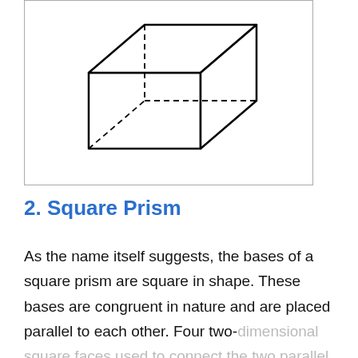[Figure (illustration): A rectangular box (rectangular prism) drawn in 3D perspective. The front face is a rectangle, the top face extends back-right. Hidden edges are shown as dashed lines. Outline is bold black.]
2. Square Prism
As the name itself suggests, the bases of a square prism are square in shape. These bases are congruent in nature and are placed parallel to each other. Four two-dimensional square faces used to connect the two parallel and congruent bases of a square prism possess similar dimensions as that of the bases, thereby forming a